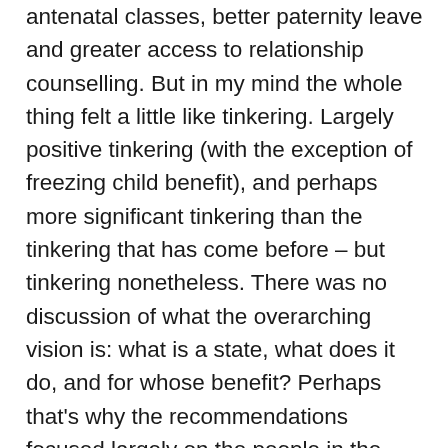antenatal classes, better paternity leave and greater access to relationship counselling. But in my mind the whole thing felt a little like tinkering. Largely positive tinkering (with the exception of freezing child benefit), and perhaps more significant tinkering than the tinkering that has come before – but tinkering nonetheless. There was no discussion of what the overarching vision is: what is a state, what does it do, and for whose benefit? Perhaps that's why the recommendations focused largely on the people in the middle. The report had very few things to say about an ever-wealthier superrich and an ever-poorer poor. In its austerity programme, the government has been successful in reordering the public's expectations of what a state is for. In my opinion, progressives